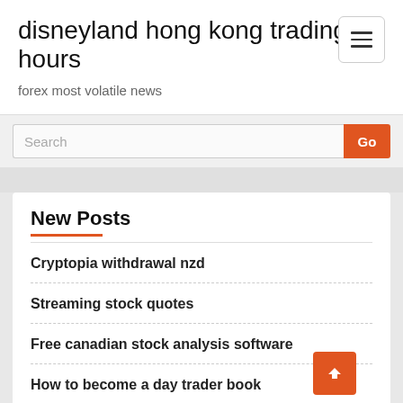disneyland hong kong trading hours
forex most volatile news
[Figure (other): Hamburger menu button (three horizontal lines) in a rounded rectangle border]
Search
Go
New Posts
Cryptopia withdrawal nzd
Streaming stock quotes
Free canadian stock analysis software
How to become a day trader book
The psychology of trading steenbarger pdf